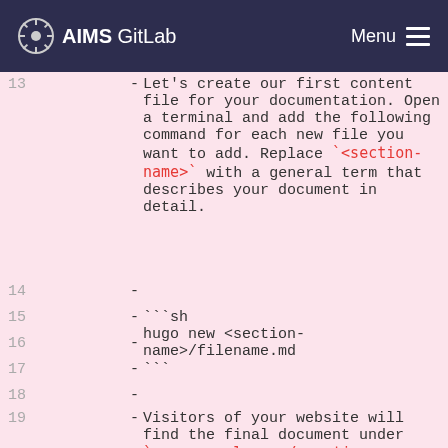AIMS GitLab  Menu
13 - Let's create our first content file for your documentation. Open a terminal and add the following command for each new file you want to add. Replace `<section-name>` with a general term that describes your document in detail.
14 -
15 - ```sh
16 - hugo new <section-name>/filename.md
17 - ```
18 -
19 - Visitors of your website will find the final document under `www.example.com/<section-name>/filename/`.
20 -
21 - Since it's possible to have multiple content files in the same section I recommend to create at